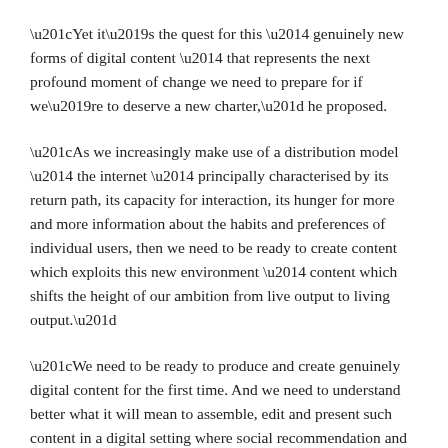“Yet it’s the quest for this — genuinely new forms of digital content — that represents the next profound moment of change we need to prepare for if we’re to deserve a new charter,” he proposed.
“As we increasingly make use of a distribution model — the internet — principally characterised by its return path, its capacity for interaction, its hunger for more and more information about the habits and preferences of individual users, then we need to be ready to create content which exploits this new environment — content which shifts the height of our ambition from live output to living output.”
“We need to be ready to produce and create genuinely digital content for the first time. And we need to understand better what it will mean to assemble, edit and present such content in a digital setting where social recommendation and other forms of curation will play a much more influential role.”